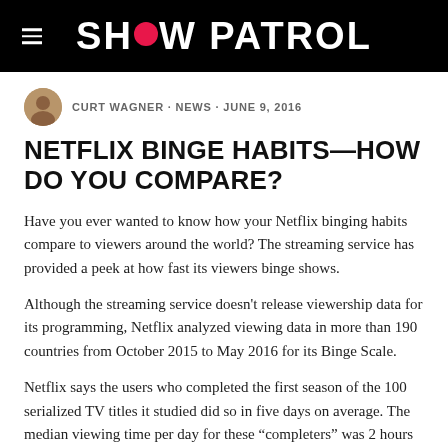SHOW PATROL
CURT WAGNER · NEWS · JUNE 9, 2016
NETFLIX BINGE HABITS—HOW DO YOU COMPARE?
Have you ever wanted to know how your Netflix binging habits compare to viewers around the world? The streaming service has provided a peek at how fast its viewers binge shows.
Although the streaming service doesn't release viewership data for its programming, Netflix analyzed viewing data in more than 190 countries from October 2015 to May 2016 for its Binge Scale.
Netflix says the users who completed the first season of the 100 serialized TV titles it studied did so in five days on average. The median viewing time per day for these “completers” was 2 hours and 10 minutes, the company reports.